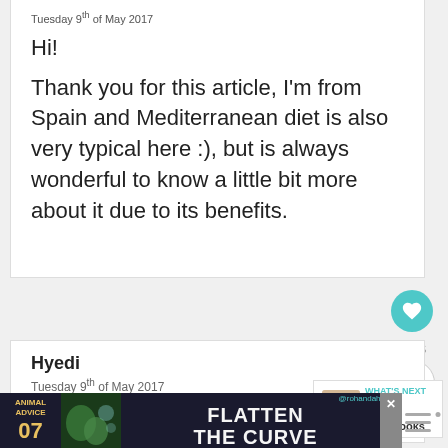Tuesday 9th of May 2017
Hi!
Thank you for this article, I'm from Spain and Mediterranean diet is also very typical here :), but is always wonderful to know a little bit more about it due to its benefits.
18
Hyedi
Tuesday 9th of May 2017
Nice bit of writing and the infographic was
[Figure (screenshot): Advertisement banner: Animal Advice 07, Flatten The Curve, with close button]
[Figure (logo): Small logo bottom right, stylized triple bar icon]